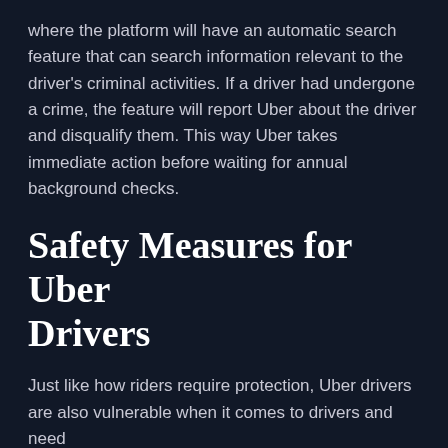where the platform will have an automatic search feature that can search information relevant to the driver's criminal activities. If a driver had undergone a crime, the feature will report Uber about the driver and disqualify them. This way Uber takes immediate action before waiting for annual background checks.
Safety Measures for Uber Drivers
Just like how riders require protection, Uber drivers are also vulnerable when it comes to drivers and need protection too. There have been cases reported where the drivers were victims.
[Figure (infographic): Blue banner with phone number (833) LETS-SUE with a gold underline accent]